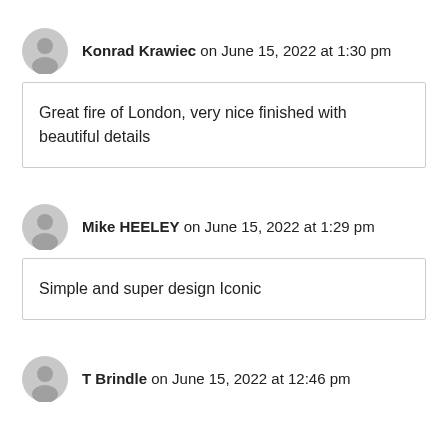Konrad Krawiec on June 15, 2022 at 1:30 pm
Great fire of London, very nice finished with beautiful details
Mike HEELEY on June 15, 2022 at 1:29 pm
Simple and super design Iconic
T Brindle on June 15, 2022 at 12:46 pm